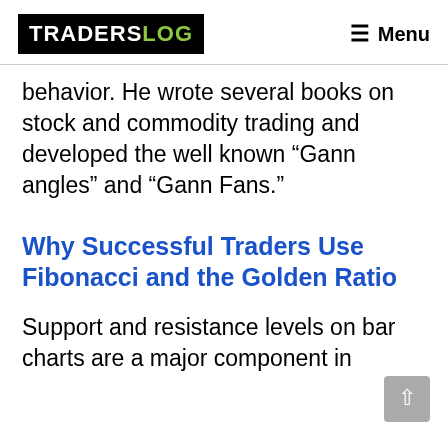[TRADERSLOG] Menu
behavior. He wrote several books on stock and commodity trading and developed the well known “Gann angles” and “Gann Fans.”
Why Successful Traders Use Fibonacci and the Golden Ratio
Support and resistance levels on bar charts are a major component in